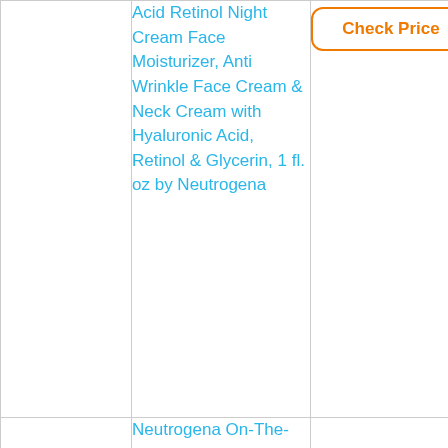| Image | Product Name | Price |
| --- | --- | --- |
| [image] | Acid Retinol Night Cream Face Moisturizer, Anti Wrinkle Face Cream & Neck Cream with Hyaluronic Acid, Retinol & Glycerin, 1 fl. oz by Neutrogena | Check Price |
| [Neutrogena On-The-Spot product image] | Neutrogena On-The-Spot Acne Spot Treatment |  |